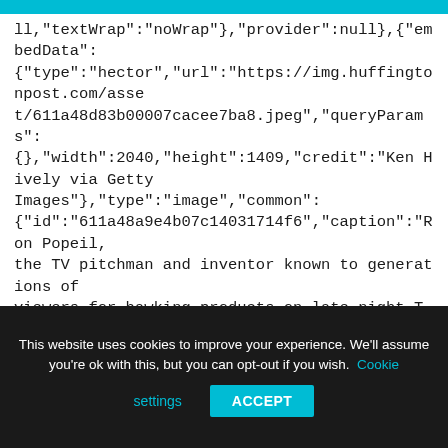ll,"textWrap":"noWrap"},{"provider":null},{"embedData":{"type":"hector","url":"https://img.huffingtonpost.com/asset/611a48d83b00007cacee7ba8.jpeg","queryParams":{},"width":2040,"height":1409,"credit":"Ken Hively via Getty Images"},"type":"image","common":{"id":"611a48a9e4b07c14031714f6","caption":"Ron Popeil, the TV pitchman and inventor known to generations of viewers for hawking products on late-night TV, died on July 28, 2021. He was 86.","credit":"Ken Hively via Getty Images","creditUrl":"","source":"","thumbnail":{"url":{"fileName":"611a48d83b00007cacee7ba8.jpeg","type":"hectorUrl"},"caption":"Ron Popeil, the TV pitchman and inventor
This website uses cookies to improve your experience. We'll assume you're ok with this, but you can opt-out if you wish. Cookie settings ACCEPT